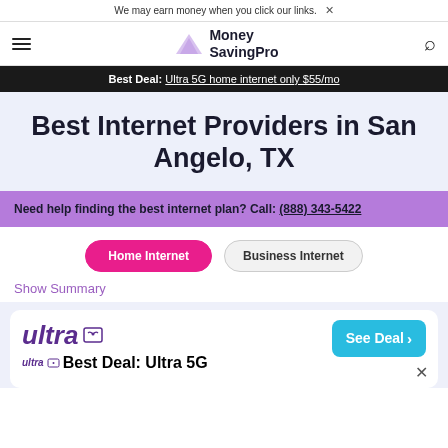We may earn money when you click our links. ×
Money SavingPro
Best Deal: Ultra 5G home internet only $55/mo
Best Internet Providers in San Angelo, TX
Need help finding the best internet plan? Call: (888) 343-5422
Home Internet
Business Internet
Show Summary
Best Deal: Ultra 5G home internet only $55/mo
See Deal ›